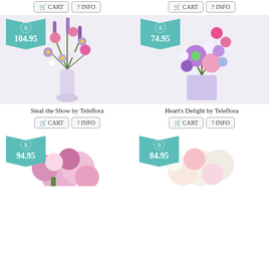[Figure (photo): Top partial row showing CART and INFO buttons for two products above the visible area]
[Figure (photo): Flower arrangement - Steal the Show by Teleflora in tall glass vase with pink, purple and lavender flowers, price tag $104.95]
Steal the Show by Teleflora
[Figure (photo): Flower arrangement - Heart's Delight by Teleflora in square purple vase with pink, purple daisies and carnations, price tag $74.95]
Heart's Delight by Teleflora
[Figure (photo): Flower arrangement bottom partial - pink lilies and roses, price tag $94.95]
[Figure (photo): Flower arrangement bottom partial - white and pink roses, price tag $84.95]